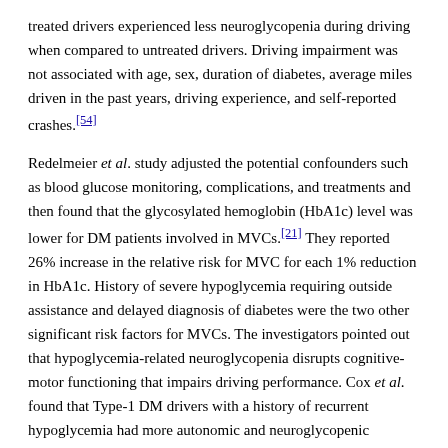treated drivers experienced less neuroglycopenia during driving when compared to untreated drivers. Driving impairment was not associated with age, sex, duration of diabetes, average miles driven in the past years, driving experience, and self-reported crashes.[54]
Redelmeier et al. study adjusted the potential confounders such as blood glucose monitoring, complications, and treatments and then found that the glycosylated hemoglobin (HbA1c) level was lower for DM patients involved in MVCs.[21] They reported 26% increase in the relative risk for MVC for each 1% reduction in HbA1c. History of severe hypoglycemia requiring outside assistance and delayed diagnosis of diabetes were the two other significant risk factors for MVCs. The investigators pointed out that hypoglycemia-related neuroglycopenia disrupts cognitive-motor functioning that impairs driving performance. Cox et al. found that Type-1 DM drivers with a history of recurrent hypoglycemia had more autonomic and neuroglycopenic symptoms than those without any history of recurrent hypoglycemia.[22]
An earlier study identified that previous episode of severe hypoglycemia, history of hypoglycemia while driving, low HbA1c, and absence of blood glucose